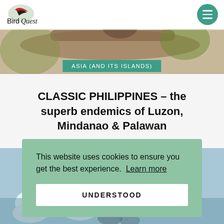BirdQuest
[Figure (photo): Hero photo of a bird on a branch, blurred background with green/yellow foliage]
ASIA (AND ITS ISLANDS)
CLASSIC PHILIPPINES – the superb endemics of Luzon, Mindanao & Palawan
[Figure (photo): Photo of white birds, partially obscured by cookie banner overlay]
This website uses cookies to ensure you get the best experience.  Learn more

UNDERSTOOD